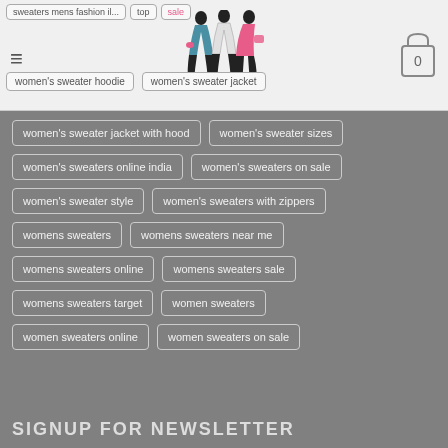women's sweater hoodie | women's sweater jacket | lottery womens sale | top | 100 families | sale
women's sweater hoodie
women's sweater jacket
women's sweater jacket with hood
women's sweater sizes
women's sweaters online india
women's sweaters on sale
women's sweater style
women's sweaters with zippers
womens sweaters
womens sweaters near me
womens sweaters online
womens sweaters sale
womens sweaters target
women sweaters
women sweaters online
women sweaters on sale
SIGNUP FOR NEWSLETTER